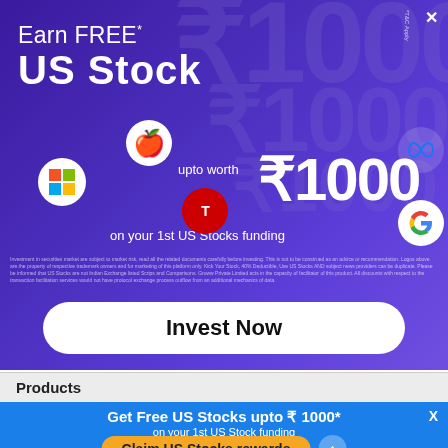[Figure (infographic): Purple promotional banner for US Stocks investment. Shows 'Earn FREE* US Stock upto worth ₹1000 on your 1st US Stocks funding' with company logos (Apple, Microsoft, Tesla, Meta, Google) and decorative rupee watermarks in background.]
Earn FREE* US Stock upto worth ₹1000 on your 1st US Stocks funding
Investment in securities market are subject to market risk, read all the related documents carefully before investing. This is not to be construed as an advice or recommendation. Logos above are the property of respective trademark owners and for marketing of this platform only. Kick Your Stock, 40% Deductible, Use US Stocks AND subject news providers can be duplicate. Please be informed that US Stocks are not Indian Exchange listed Scrips and Comparisons. Groww Private Limited acts in the capacity of facilitator of this product. All discounts with respect to the transaction facilitation services would not have protocol exchange process outflow from an additional mechanics of data.
Invest Now
Products
Get Free US Stocks upto ₹ 1000*
on your 1st US Stock funding
Claim US Stocks rewards